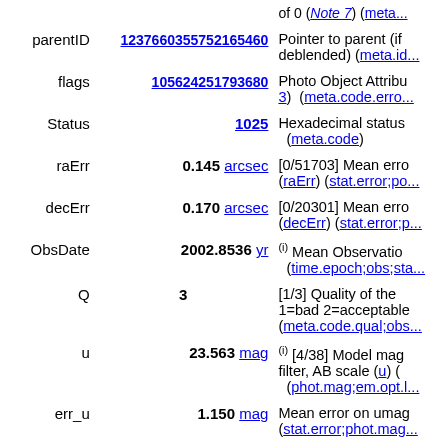| Name | Value | Description |
| --- | --- | --- |
| parentID | 123766035575216546​0 | Pointer to parent (if deblended) (meta.id... |
| flags | 105624251793680 | Photo Object Attribu... 3) (meta.code.error... |
| Status | 1025 | Hexadecimal status (meta.code) |
| raErr | 0.145 arcsec | [0/51703] Mean erro (raErr) (stat.error;po... |
| decErr | 0.170 arcsec | [0/20301] Mean erro (decErr) (stat.error;p... |
| ObsDate | 2002.8536 yr | (i) Mean Observatio (time.epoch;obs;sta... |
| Q | 3 | [1/3] Quality of the 1=bad 2=acceptable (meta.code.qual;obs... |
| u | 23.563 mag | (i) [4/38] Model mag filter, AB scale (u) ( (phot.mag;em.opt.l... |
| err_u | 1.150 mag | Mean error on umag (stat.error;phot.mag... |
| g | 23.819 mag | (i) [5/40] Model mag filter, AB scale (g)... |